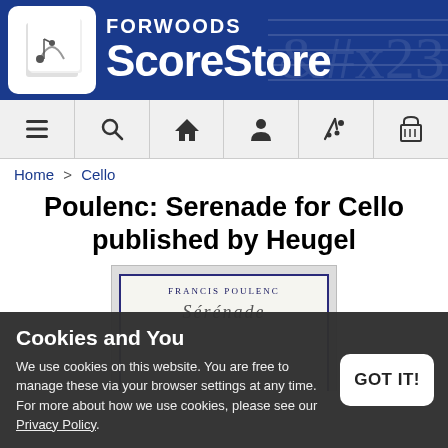[Figure (logo): Forwoods ScoreStore logo with musical note icon and blue background header banner]
[Figure (infographic): Navigation bar with icons: menu (hamburger), search (magnifying glass), home (house), account (person), favorites (wand/star), cart (basket)]
Home > Cello
Poulenc: Serenade for Cello published by Heugel
[Figure (photo): Music score cover showing FRANCIS POULENC and Serenade in italic script]
Cookies and You
We use cookies on this website. You are free to manage these via your browser settings at any time. For more about how we use cookies, please see our Privacy Policy.